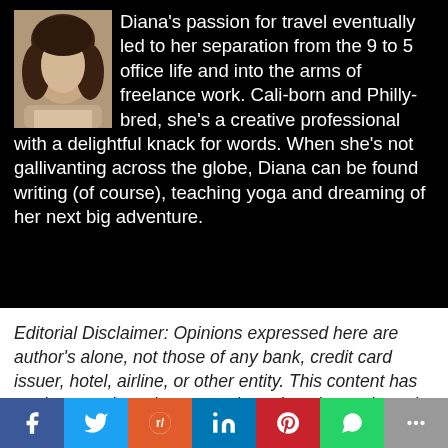Diana's passion for travel eventually led to her separation from the 9 to 5 office life and into the arms of freelance work. Cali-born and Philly-bred, she's a creative professional with a delightful knack for words. When she's not gallivanting across the globe, Diana can be found writing (of course), teaching yoga and dreaming of her next big adventure.
Editorial Disclaimer: Opinions expressed here are author's alone, not those of any bank, credit card issuer, hotel, airline, or other entity. This content has not been reviewed, approved or otherwise endorsed by any of the entities included within the post.
[Figure (other): Social sharing bar with Facebook, Twitter, Reddit, LinkedIn, Pinterest, WhatsApp, and More buttons]